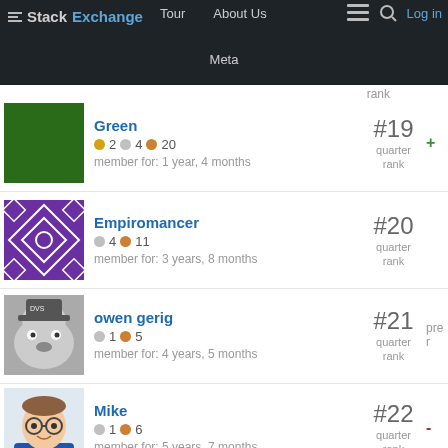Stack Exchange | Tour | About Us | Meta | Log in
Green | badges: 2 gold 4 silver 20 bronze | member for: 1 year, 4 months | #19 quarter rank
Empiromancer | badges: 4 silver 11 bronze | member for: 3 years, 8 months | #20 quarter rank
owen gerig | badges: 1 silver 5 bronze | member for: 4 years, 5 months | #21 quarter rank
Mike | badges: 1 silver 6 bronze | member for: 5 years, 7 months | #22 quarter rank
Christmas Snow | #23 quarter rank